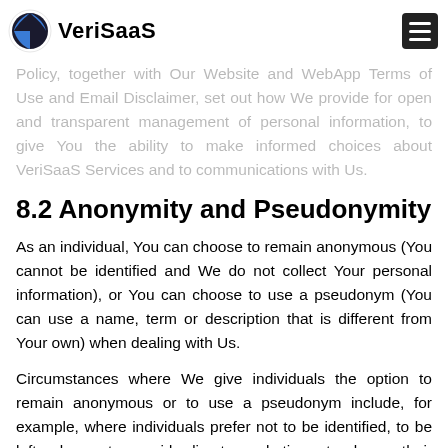VeriSaaS
Policy, together with Our Website and WebApp Terms of Use and Email Disclaimer, set out how We provide for open and transparent management of personal information, to give You the ability to make informed choices about VeriSaaS Services and to communications with Us.
8.2 Anonymity and Pseudonymity
As an individual, You can choose to remain anonymous (You cannot be identified and We do not collect Your personal information), or You can choose to use a pseudonym (You can use a name, term or description that is different from Your own) when dealing with Us.
Circumstances where We give individuals the option to remain anonymous or to use a pseudonym include, for example, where individuals prefer not to be identified, to be left alone, to avoid direct marketing, to keep their whereabouts and choices from others, and to express